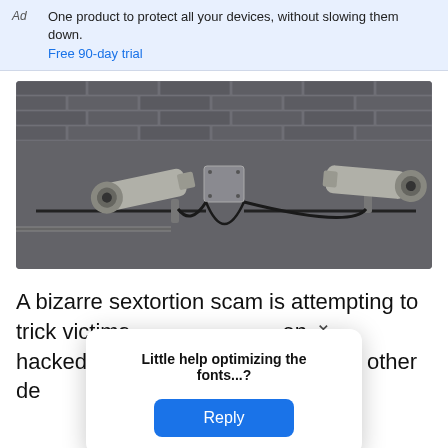Ad  One product to protect all your devices, without slowing them down.
Free 90-day trial
[Figure (photo): Two CCTV security cameras mounted on a grey brick wall, facing left and right, connected by cables to a central junction box.]
A bizarre sextortion scam is attempting to trick victims [text obscured] en hacked [text obscured] o every other de [text obscured] ntains a built i...
Little help optimizing the fonts...?
Reply